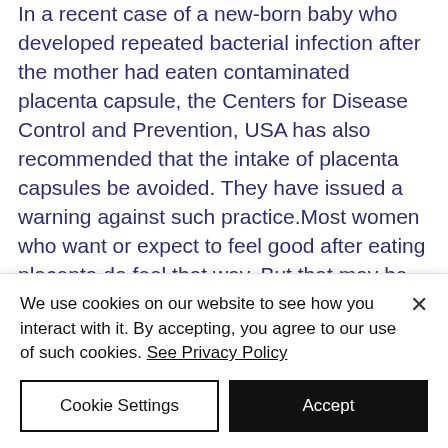In a recent case of a new-born baby who developed repeated bacterial infection after the mother had eaten contaminated placenta capsule, the Centers for Disease Control and Prevention, USA has also recommended that the intake of placenta capsules be avoided. They have issued a warning against such practice.Most women who want or expect to feel good after eating placenta do feel that way. But that may be just be a placebo effect.Follow Dr.Peter Chew's articles on aLife's
We use cookies on our website to see how you interact with it. By accepting, you agree to our use of such cookies. See Privacy Policy